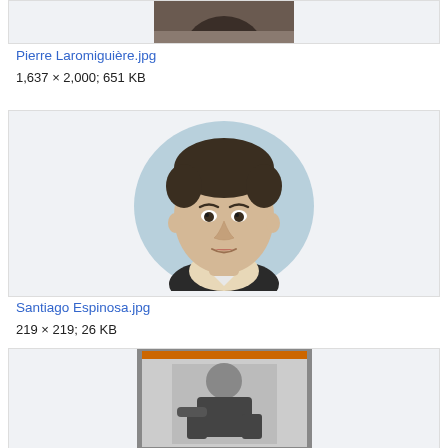[Figure (photo): Partial top of a photo, cropped at top of page]
Pierre Laromiguière.jpg
1,637 × 2,000; 651 KB
[Figure (illustration): Illustrated portrait of Santiago Espinosa, a man with dark hair, on a blue circular background]
Santiago Espinosa.jpg
219 × 219; 26 KB
[Figure (photo): Black and white photograph of a man seated, partially visible, with an orange-framed border at top]